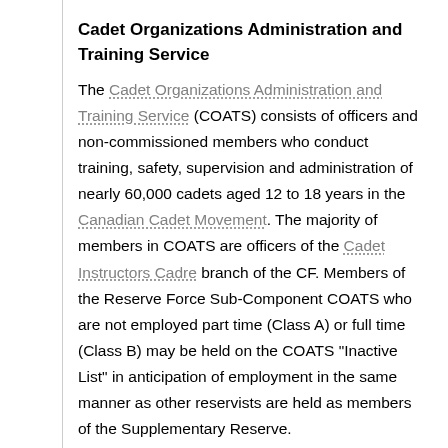Cadet Organizations Administration and Training Service
The Cadet Organizations Administration and Training Service (COATS) consists of officers and non-commissioned members who conduct training, safety, supervision and administration of nearly 60,000 cadets aged 12 to 18 years in the Canadian Cadet Movement. The majority of members in COATS are officers of the Cadet Instructors Cadre branch of the CF. Members of the Reserve Force Sub-Component COATS who are not employed part time (Class A) or full time (Class B) may be held on the COATS "Inactive List" in anticipation of employment in the same manner as other reservists are held as members of the Supplementary Reserve.